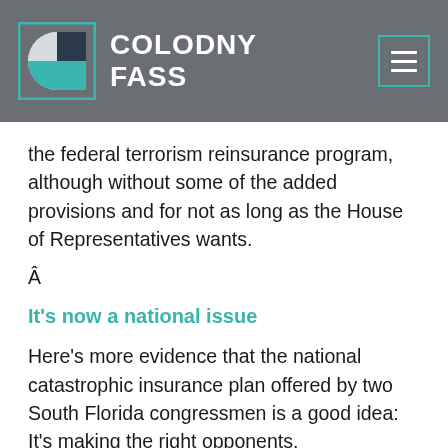COLODNY FASS
the federal terrorism reinsurance program, although without some of the added provisions and for not as long as the House of Representatives wants.
Â
It's now a national issue
Here's more evidence that the national catastrophic insurance plan offered by two South Florida congressmen is a good idea: It's making the right opponents.